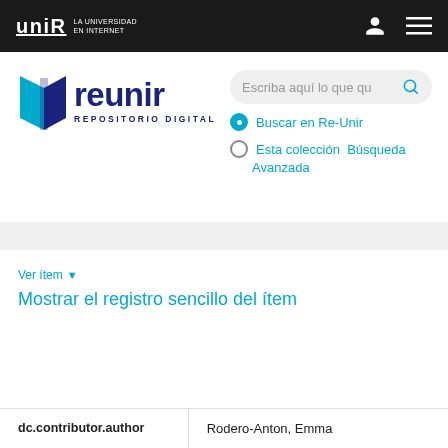[Figure (logo): UNIR - La Universidad en Internet logo in white on black navigation bar]
[Figure (logo): Reunir Repositorio Digital logo with blue book icon and dark blue text]
Escriba aquí lo que qu
Buscar en Re-Unir
Esta colección  Búsqueda Avanzada
Ver ítem ▼
Mostrar el registro sencillo del ítem
| dc.contributor.author |  |
| --- | --- |
| dc.contributor.author | Rodero-Anton, Emma |